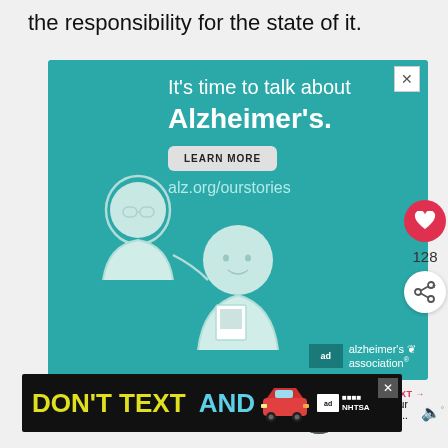the responsibility for the state of it.
[Figure (infographic): Alzheimer's Association advertisement on teal/turquoise background. Headline reads: 'It's time to talk about Alzheimer's.' with a LEARN MORE button and alz.org/ourstories URL. Illustrated figures of two people (caregiver and patient). Alzheimer's Association logo bottom right.]
[Figure (infographic): NHTSA 'Don't Text and Drive' advertisement. Black background with yellow 'DON'T TEXT' text, cyan 'AND' text, car emoji, and NHTSA logo with ad badge.]